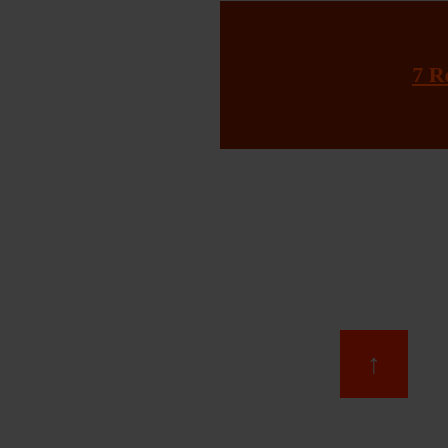7 Reasons to Subscribe
[Figure (other): Scroll-to-top button with upward arrow icon, dark red background]